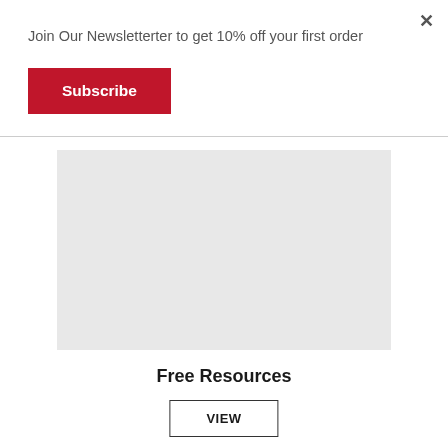Join Our Newsletterter to get 10% off your first order
×
Subscribe
[Figure (other): Gray rectangular placeholder image area]
Free Resources
VIEW